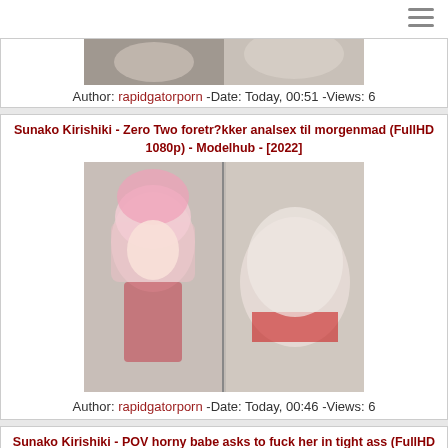[Figure (photo): Partial view of photo from previous card (cropped at top of visible area)]
Author: rapidgatorporn -Date: Today, 00:51 -Views: 6
Sunako Kirishiki - Zero Two foretr?kker analsex til morgenmad (FullHD 1080p) - Modelhub - [2022]
[Figure (photo): Two-panel cosplay photo: left panel shows person with pink hair in red costume; right panel shows close-up rear view]
Author: rapidgatorporn -Date: Today, 00:46 -Views: 6
Sunako Kirishiki - POV horny babe asks to fuck her in tight ass (FullHD 1080p) - Modelhub - [2022]
[Figure (photo): Partial photo visible at bottom of page]